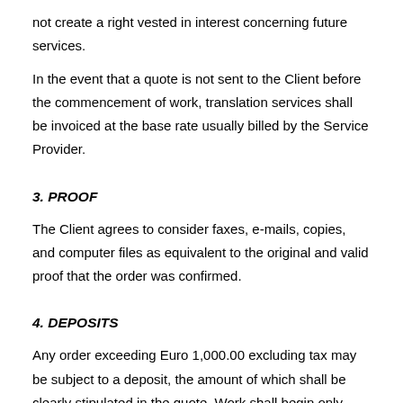not create a right vested in interest concerning future services.
In the event that a quote is not sent to the Client before the commencement of work, translation services shall be invoiced at the base rate usually billed by the Service Provider.
3. PROOF
The Client agrees to consider faxes, e-mails, copies, and computer files as equivalent to the original and valid proof that the order was confirmed.
4. DEPOSITS
Any order exceeding Euro 1,000.00 excluding tax may be subject to a deposit, the amount of which shall be clearly stipulated in the quote. Work shall begin only once the payment has cleared.